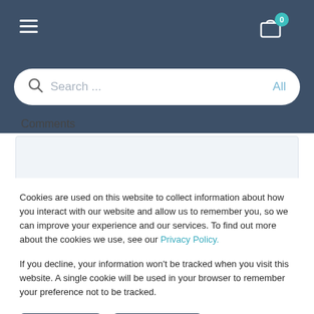[Figure (screenshot): Website header navigation bar with dark blue-grey background, hamburger menu icon on left, shopping cart icon with teal badge showing '0' on right]
[Figure (screenshot): Search bar with magnifying glass icon and placeholder text 'Search ...' and 'All' on right, set on dark background]
Comments
Cookies are used on this website to collect information about how you interact with our website and allow us to remember you, so we can improve your experience and our services. To find out more about the cookies we use, see our Privacy Policy.
If you decline, your information won't be tracked when you visit this website. A single cookie will be used in your browser to remember your preference not to be tracked.